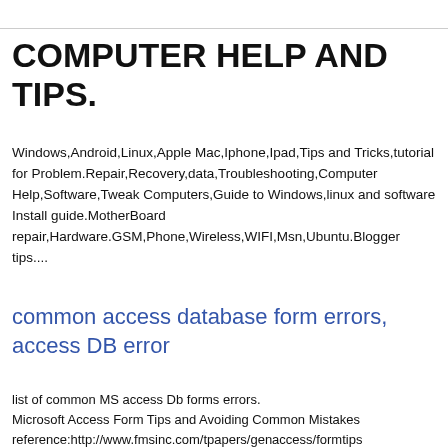COMPUTER HELP AND TIPS.
Windows,Android,Linux,Apple Mac,Iphone,Ipad,Tips and Tricks,tutorial for Problem.Repair,Recovery,data,Troubleshooting,Computer Help,Software,Tweak Computers,Guide to Windows,linux and software Install guide.MotherBoard repair,Hardware.GSM,Phone,Wireless,WIFI,Msn,Ubuntu.Blogger tips....
common access database form errors, access DB error
list of common MS access Db forms errors.
Microsoft Access Form Tips and Avoiding Common Mistakes
reference:http://www.fmsinc.com/tpapers/genaccess/formtips